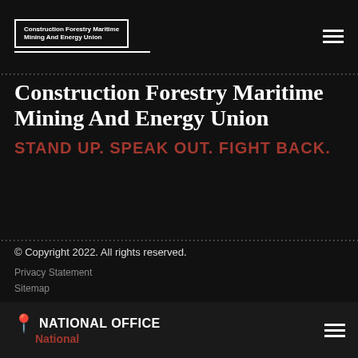Construction Forestry Maritime Mining And Energy Union
Construction Forestry Maritime Mining And Energy Union
STAND UP. SPEAK OUT. FIGHT BACK.
© Copyright 2022. All rights reserved.
Privacy Statement
Sitemap
Authorised by D Noonan, Construction Forestry Maritime Mining And Energy Union National Secretary, Melbourne
NATIONAL OFFICE
National